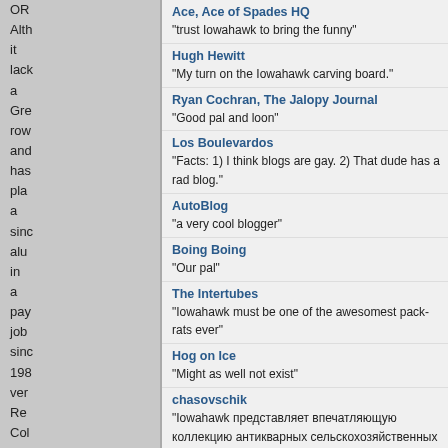OR Alt it lac a Gre row anc has pla a sin alu in a pay job sin 198 ver Re Col cor
Ace, Ace of Spades HQ — "trust Iowahawk to bring the funny"
Hugh Hewitt — "My turn on the Iowahawk carving board."
Ryan Cochran, The Jalopy Journal — "Good pal and loon"
Los Boulevardos — "Facts: 1) I think blogs are gay. 2) That dude has a rad blog."
AutoBlog — "a very cool blogger"
Boing Boing — "Our pal"
The Intertubes — "Iowahawk must be one of the awesomest pack-rats ever"
Hog on Ice — "Might as well not exist"
chasovschik — "Iowahawk представляет впечатляющую коллекцию антикварных сельскохозяйственных приборов"
The Sophistry — "One of the best writers in the world."
בצל טוב (Good Onion - Israel) — אמנם היה קיין והזרימה חלשה יותר, וגם הצקות של זבובוני החולזה לא משהו שאפשר להתעלם ממנו, אבל באמת היה סיור יפה (הרבה מחיאות כפיים, צעיר ערבי שהכרתי וגו').
Karl Maher — "Dave Burge can read the terrorists'"